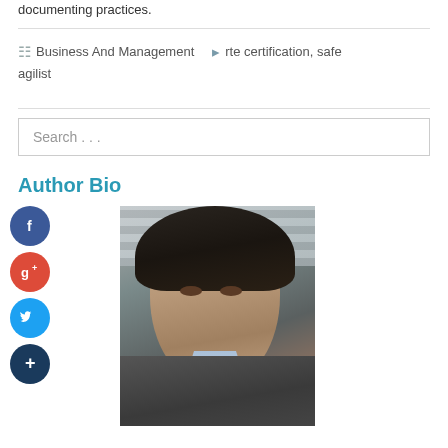documenting practices.
Business And Management   rte certification, safe agilist
Search . . .
Author Bio
[Figure (photo): Headshot photo of a man in a grey jacket with dark hair, smiling slightly, against a light grey striped background.]